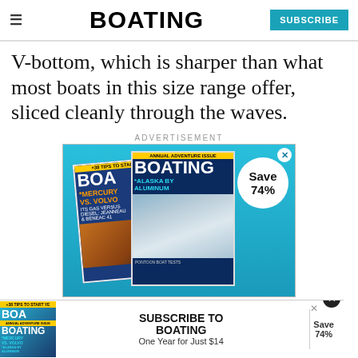BOATING | SUBSCRIBE
V-bottom, which is sharper than what most boats in this size range offer, sliced cleanly through the waves.
ADVERTISEMENT
[Figure (illustration): Advertisement for Boating magazine showing two magazine covers with 'ANNUAL ADVENTURE ISSUE', 'BOA/BOATING' titles, 'MERCURY VS. VOLVO' and 'ALASKA BY ALUMINUM' headlines, with a circular badge showing 'Save 74%']
[Figure (illustration): Bottom banner ad: Subscribe to Boating - One Year for Just $14, Save 74%]